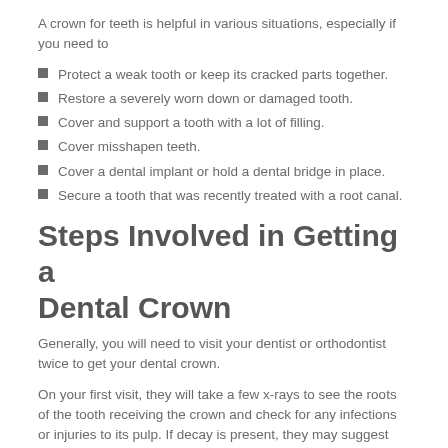A crown for teeth is helpful in various situations, especially if you need to
Protect a weak tooth or keep its cracked parts together.
Restore a severely worn down or damaged tooth.
Cover and support a tooth with a lot of filling.
Cover misshapen teeth.
Cover a dental implant or hold a dental bridge in place.
Secure a tooth that was recently treated with a root canal.
Steps Involved in Getting a Dental Crown
Generally, you will need to visit your dentist or orthodontist twice to get your dental crown.
On your first visit, they will take a few x-rays to see the roots of the tooth receiving the crown and check for any infections or injuries to its pulp. If decay is present, they may suggest that you get a root canal treatment first.